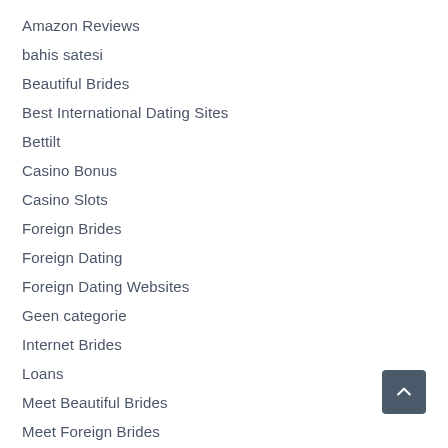Amazon Reviews
bahis satesi
Beautiful Brides
Best International Dating Sites
Bettilt
Casino Bonus
Casino Slots
Foreign Brides
Foreign Dating
Foreign Dating Websites
Geen categorie
Internet Brides
Loans
Meet Beautiful Brides
Meet Foreign Brides